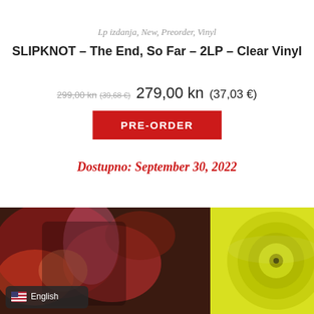Lp izdanja, New, Preorder, Vinyl
SLIPKNOT – The End, So Far – 2LP – Clear Vinyl
299,00 kn (39,68 €) 279,00 kn (37,03 €)
PRE-ORDER
Dostupno: September 30, 2022
[Figure (photo): Product photo showing Slipknot album cover art on the left and a yellow/clear vinyl record on the right, with English language badge overlay at bottom left]